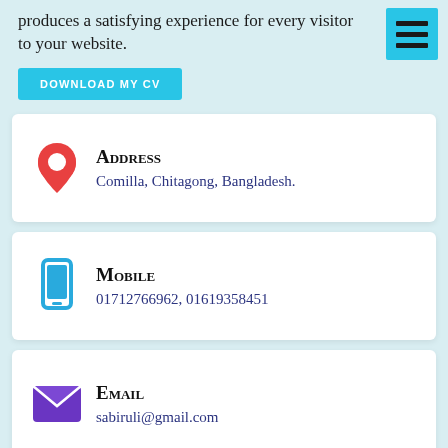produces a satisfying experience for every visitor to your website.
DOWNLOAD MY CV
Address
Comilla, Chitagong, Bangladesh.
Mobile
01712766962, 01619358451
Email
sabiruli@gmail.com